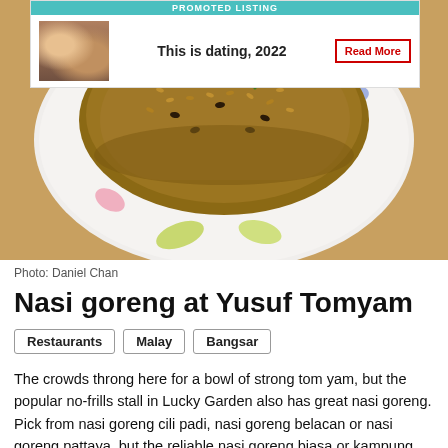[Figure (photo): Overhead shot of a plate of nasi goreng (fried rice) with green chillies on a floral-patterned plate, placed on a tan/brown surface]
Photo: Daniel Chan
Nasi goreng at Yusuf Tomyam
Restaurants
Malay
Bangsar
The crowds throng here for a bowl of strong tom yam, but the popular no-frills stall in Lucky Garden also has great nasi goreng. Pick from nasi goreng cili padi, nasi goreng belacan or nasi goreng pattaya, but the reliable nasi goreng biasa or kampung should do the trick.